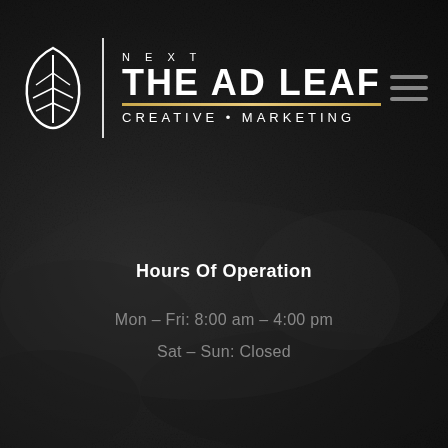[Figure (logo): The Ad Leaf Creative Marketing logo — white leaf icon, vertical divider, NEXT above THE AD LEAF with gold underline, CREATIVE • MARKETING tagline]
Hours Of Operation
Mon – Fri: 8:00 am – 4:00 pm
Sat – Sun: Closed